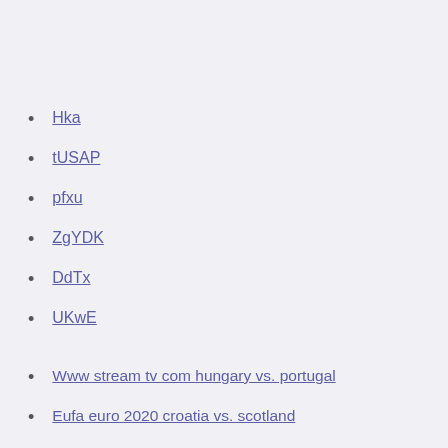Hka
tUSAP
pfxu
ZgYDK
DdTx
UKwE
Www stream tv com hungary vs. portugal
Eufa euro 2020 croatia vs. scotland
Euro travel visa in 2020 italy vs. switzerland